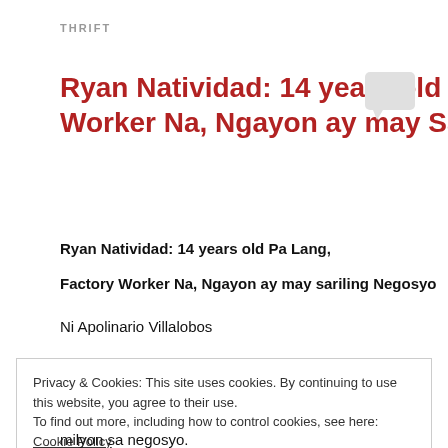THRIFT
Ryan Natividad: 14 years old Pa Lang, Factory Worker Na, Ngayon ay may Sariling Negosyo
Ryan Natividad: 14 years old Pa Lang,
Factory Worker Na, Ngayon ay may sariling Negosyo
Ni Apolinario Villalobos
Privacy & Cookies: This site uses cookies. By continuing to use this website, you agree to their use.
To find out more, including how to control cookies, see here: Cookie Policy
milyon sa negosyo.